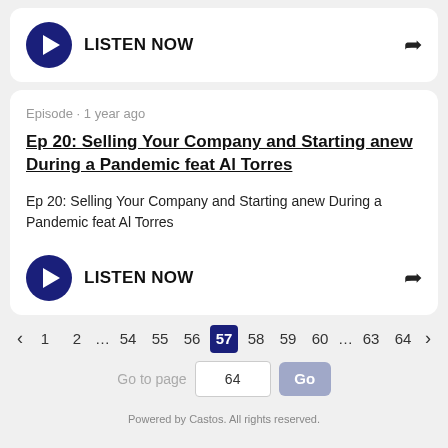[Figure (screenshot): Play button with LISTEN NOW text and share icon in white card]
Episode · 1 year ago
Ep 20: Selling Your Company and Starting anew During a Pandemic feat Al Torres
Ep 20: Selling Your Company and Starting anew During a Pandemic feat Al Torres
[Figure (screenshot): Play button with LISTEN NOW text and share icon]
‹ 1 2 … 54 55 56 57 58 59 60 … 63 64 ›
Go to page  64  Go
Powered by Castos. All rights reserved.